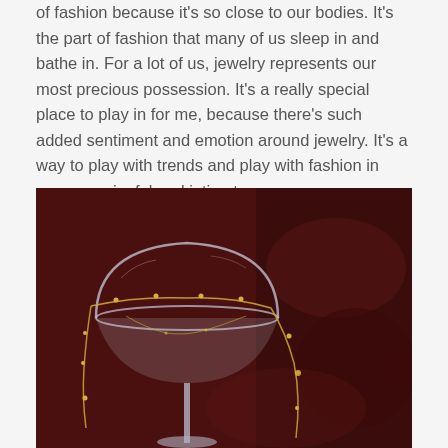of fashion because it's so close to our bodies. It's the part of fashion that many of us sleep in and bathe in. For a lot of us, jewelry represents our most precious possession. It's a really special place to play in for me, because there's such added sentiment and emotion around jewelry. It's a way to play with trends and play with fashion in very meaningful and intimate ways.
[Figure (photo): A gold chain necklace draped over and around a clear coupe/martini glass, set against a dark burgundy/maroon velvet background. The gold chain has small bead-like accents along it.]